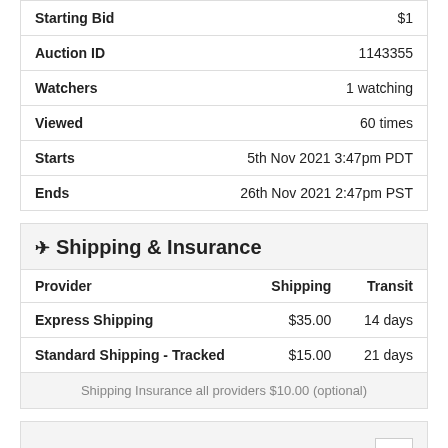| Field | Value |
| --- | --- |
| Starting Bid | $1 |
| Auction ID | 1143355 |
| Watchers | 1 watching |
| Viewed | 60 times |
| Starts | 5th Nov 2021 3:47pm PDT |
| Ends | 26th Nov 2021 2:47pm PST |
✈ Shipping & Insurance
| Provider | Shipping | Transit |
| --- | --- | --- |
| Express Shipping | $35.00 | 14 days |
| Standard Shipping - Tracked | $15.00 | 21 days |
Shipping Insurance all providers $10.00 (optional)
53frogs Details